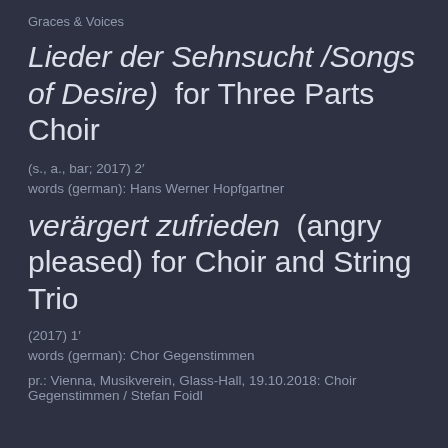Graces & Voices
Lieder der Sehnsucht /Songs of Desire) for Three Parts Choir
(s., a., bar; 2017) 2′
words (german): Hans Werner Hopfgartner
verärgert zufrieden (angry pleased) for Choir and String Trio
(2017) 1′
words (german): Chor Gegenstimmen
pr.: Vienna, Musikverein, Glass-Hall, 19.10.2018: Choir Gegenstimmen / Stefan Foidl